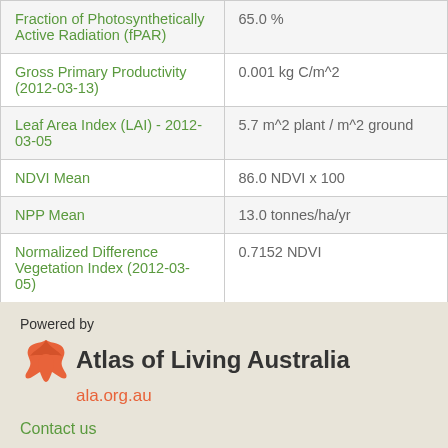| Attribute | Value |
| --- | --- |
| Fraction of Photosynthetically Active Radiation (fPAR) | 65.0 % |
| Gross Primary Productivity (2012-03-13) | 0.001 kg C/m^2 |
| Leaf Area Index (LAI) - 2012-03-05 | 5.7 m^2 plant / m^2 ground |
| NDVI Mean | 86.0 NDVI x 100 |
| NPP Mean | 13.0 tonnes/ha/yr |
| Normalized Difference Vegetation Index (2012-03-05) | 0.7152 NDVI |
[Figure (logo): Atlas of Living Australia logo with bird icon and ala.org.au URL]
Contact us